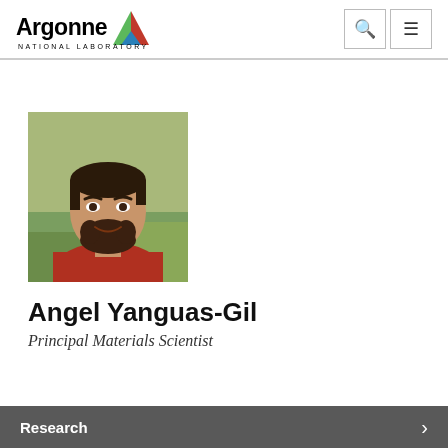[Figure (logo): Argonne National Laboratory logo with triangular icon in red, green, and blue colors and text 'Argonne NATIONAL LABORATORY']
[Figure (photo): Headshot of Angel Yanguas-Gil, a man with dark hair and beard wearing a red shirt, photographed outdoors with green background]
Angel Yanguas-Gil
Principal Materials Scientist
Research